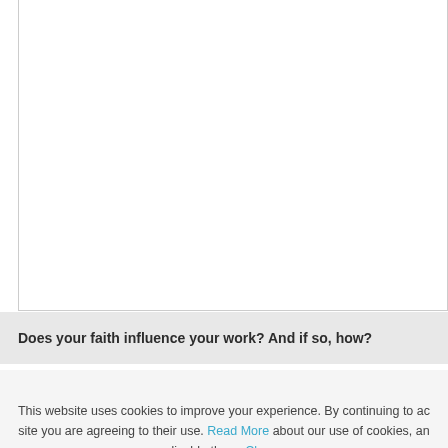[Figure (other): White content area box with border, partially visible, showing mostly blank white space]
Does your faith influence your work? And if so, how?
This website uses cookies to improve your experience. By continuing to access this site you are agreeing to their use. Read More about our use of cookies, and how to disable them. Close.